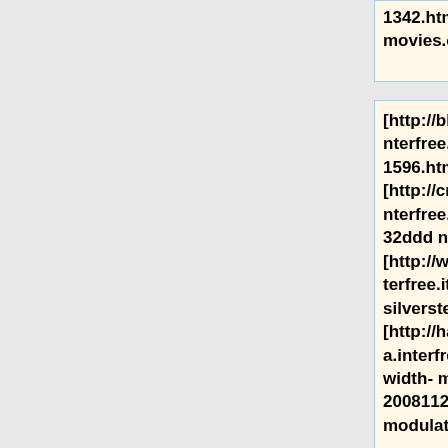1342.html ebony sex movies.com]
[http://bldianna.interfree.it/resource-1596.html man videos] [http://crbaldwi.interfree.it/104273417432ddd natural] [http://woelgin.interfree.it/topic-1913.html silverstein video code] [http://haschucka.interfree.it/news-pulse-width-modulation-20081125.html pulse width modulation controller]